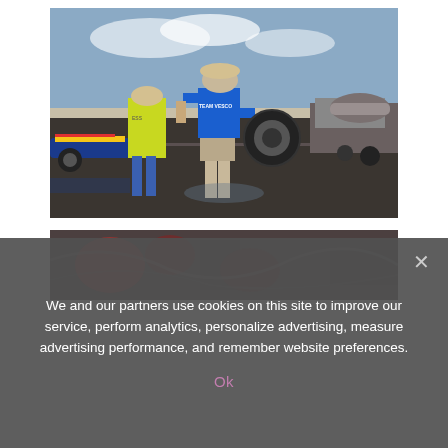[Figure (photo): A man in a blue 'TEAM VESCO' shirt carrying a large tire at what appears to be a racing event on a salt flat. Another person in a yellow safety vest is visible to the left. A racing vehicle and equipment are visible.]
[Figure (photo): A close-up blurred photo of mechanical parts, possibly engine components or cables, in red and dark tones.]
We and our partners use cookies on this site to improve our service, perform analytics, personalize advertising, measure advertising performance, and remember website preferences.
Ok